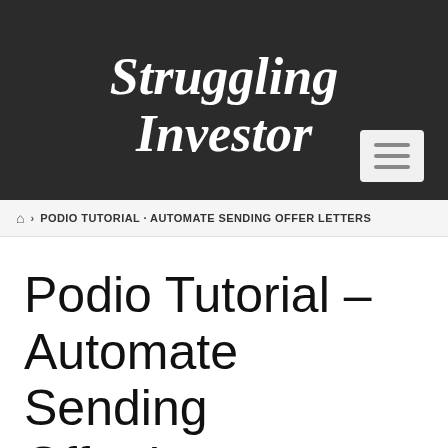Struggling Investor
🏠 › PODIO TUTORIAL · AUTOMATE SENDING OFFER LETTERS
Podio Tutorial – Automate Sending Offer Letters